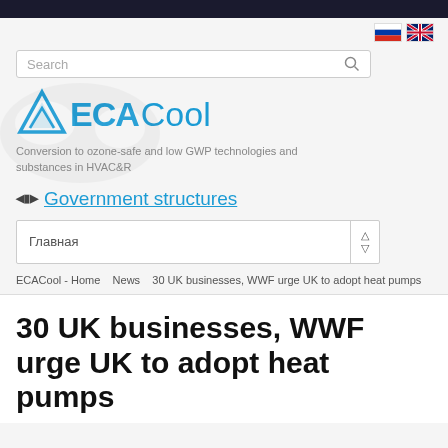[Figure (logo): ECA Cool logo with mountain/chevron icon in blue, bold ECA in blue and Cool in lighter blue]
Conversion to ozone-safe and low GWP technologies and substances in HVAC&R
Government structures
Главная
ECACool - Home  News  30 UK businesses, WWF urge UK to adopt heat pumps
30 UK businesses, WWF urge UK to adopt heat pumps